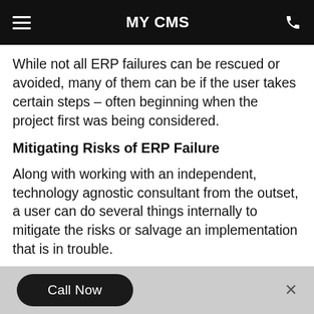MY CMS
While not all ERP failures can be rescued or avoided, many of them can be if the user takes certain steps – often beginning when the project first was being considered.
Mitigating Risks of ERP Failure
Along with working with an independent, technology agnostic consultant from the outset, a user can do several things internally to mitigate the risks or salvage an implementation that is in trouble.
The “be prepared” motto of the Boy Scouts is applicable for ERP projects. The ERP contracts with a vendor and the integrators should require weekly or monthly project status reports with any exceptions noted, along with a senior-level contact at the integrator who isn’t part of the project team to
Call Now